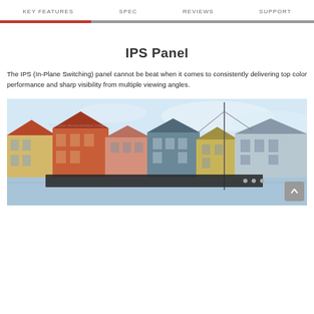KEY FEATURES  SPEC  REVIEWS  SUPPORT
IPS Panel
The IPS (In-Plane Switching) panel cannot be beat when it comes to consistently delivering top color performance and sharp visibility from multiple viewing angles.
[Figure (photo): Colorful European waterfront buildings with a sailboat mast visible, shown as a demonstration image on a monitor/display. A monitor bezel is visible overlaid at the bottom of the image.]